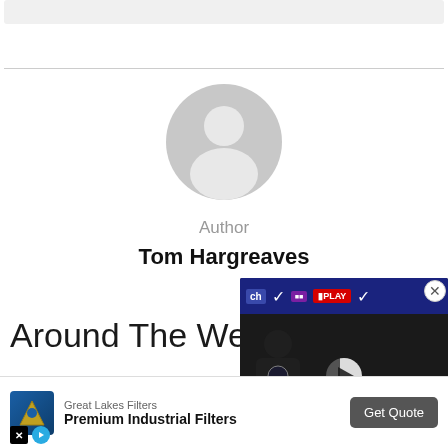[Figure (screenshot): Top navigation/header bar placeholder]
[Figure (illustration): Generic user avatar placeholder — grey circular person silhouette]
Author
Tom Hargreaves
Around The Web
[Figure (screenshot): Video overlay showing a press conference with Tottenham Hotspur branding, Nike, Arena and Play logos visible. Play button in centre.]
[Figure (screenshot): Advertisement bar: Great Lakes Filters — Premium Industrial Filters — Get Quote button]